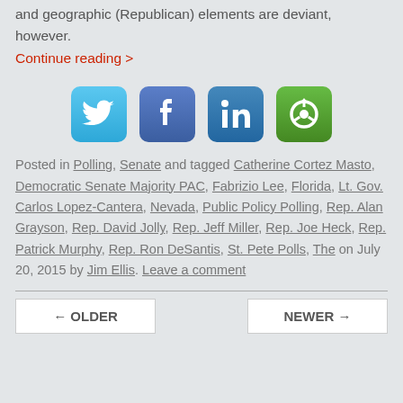and geographic (Republican) elements are deviant, however.
Continue reading >
[Figure (other): Social sharing icons: Twitter, Facebook, LinkedIn, and a share/circular arrow icon]
Posted in Polling, Senate and tagged Catherine Cortez Masto, Democratic Senate Majority PAC, Fabrizio Lee, Florida, Lt. Gov. Carlos Lopez-Cantera, Nevada, Public Policy Polling, Rep. Alan Grayson, Rep. David Jolly, Rep. Jeff Miller, Rep. Joe Heck, Rep. Patrick Murphy, Rep. Ron DeSantis, St. Pete Polls, The on July 20, 2015 by Jim Ellis. Leave a comment
← OLDER
NEWER →